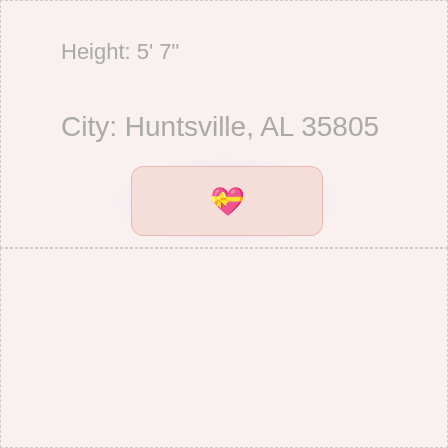Height: 5' 7"
City: Huntsville, AL 35805
[Figure (other): A button with a heart emoji (💝) on a pink background with a blue glow effect]
[Figure (photo): A photo of a woman with short dark hair, watermarked with 'aquamarinedive.com']